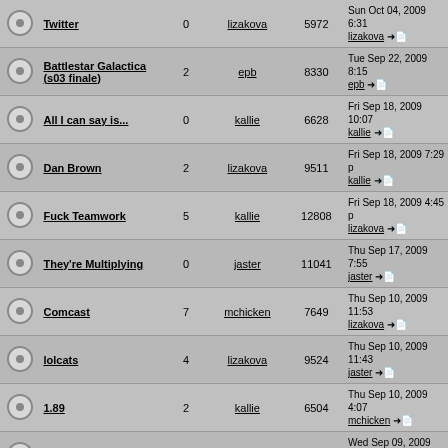|  | Topic | Replies | Author | Views | Last Post |
| --- | --- | --- | --- | --- | --- |
|  | Twitter | 0 | lizakova | 5972 | Sun Oct 04, 2009 6:31
lizakova → |
|  | Battlestar Galactica (s03 finale) | 2 | epb | 8330 | Tue Sep 22, 2009 8:15
epb → |
|  | All I can say is... | 0 | kallie | 6628 | Fri Sep 18, 2009 10:07
kallie → |
|  | Dan Brown | 2 | lizakova | 9511 | Fri Sep 18, 2009 7:29 p
kallie → |
|  | Fuck Teamwork | 5 | kallie | 12808 | Fri Sep 18, 2009 4:45 p
lizakova → |
|  | They're Multiplying | 0 | jaster | 11041 | Thu Sep 17, 2009 7:55
jaster → |
|  | Comcast | 7 | mchicken | 7649 | Thu Sep 10, 2009 11:53
lizakova → |
|  | lolcats | 4 | lizakova | 9524 | Thu Sep 10, 2009 11:43
jaster → |
|  | 1.89 | 2 | kallie | 6504 | Thu Sep 10, 2009 4:07
mchicken → |
|  | Fucking Athena | 9 | kallie | 9484 | Wed Sep 09, 2009 1:34
jaster → |
|  | Forums | 6 | mchicken | 6728 | Sun Aug 16, 2009 1:38
awerbos → |
|  | Fuck Soccer Fans | 2 | mchicken | 5512 | Fri Aug 14, 2009 11:33
lugo → |
|  | Hannity Forums | 11 | jaster | 10535 | Mon Aug 10, 2009 12:45
mchicken → |
|  | Complaint: People who |  |  |  |  |